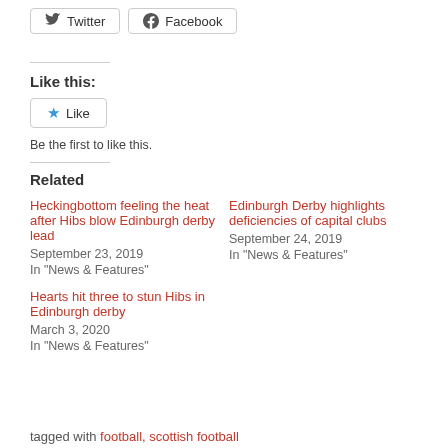Twitter
Facebook
Like this:
Like
Be the first to like this.
Related
Heckingbottom feeling the heat after Hibs blow Edinburgh derby lead
September 23, 2019
In "News & Features"
Edinburgh Derby highlights deficiencies of capital clubs
September 24, 2019
In "News & Features"
Hearts hit three to stun Hibs in Edinburgh derby
March 3, 2020
In "News & Features"
tagged with football, scottish football